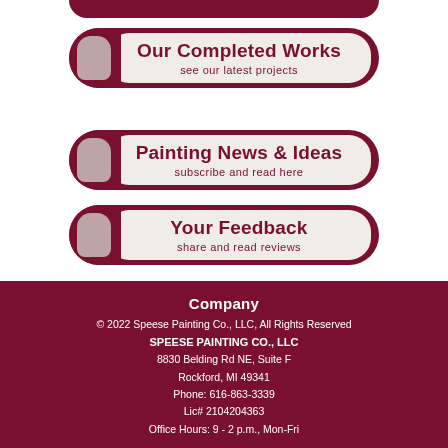[Figure (infographic): Pill-shaped button with paint brush graphic: 'Our Completed Works / see our latest projects']
[Figure (infographic): Pill-shaped button with paint brush graphic: 'Painting News & Ideas / subscribe and read here']
[Figure (infographic): Pill-shaped button with paint brush graphic: 'Your Feedback / share and read reviews']
Company
© 2022 Speese Painting Co., LLC, All Rights Reserved
SPEESE PAINTING CO., LLC
8830 Belding Rd NE, Suite F
Rockford, MI 49341
Phone: 616-863-3339
Lic# 2104204363
Office Hours: 9 - 2 p.m., Mon-Fri